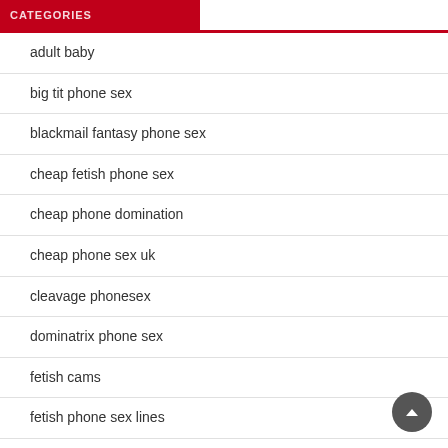CATEGORIES
adult baby
big tit phone sex
blackmail fantasy phone sex
cheap fetish phone sex
cheap phone domination
cheap phone sex uk
cleavage phonesex
dominatrix phone sex
fetish cams
fetish phone sex lines
fetish webcam chats